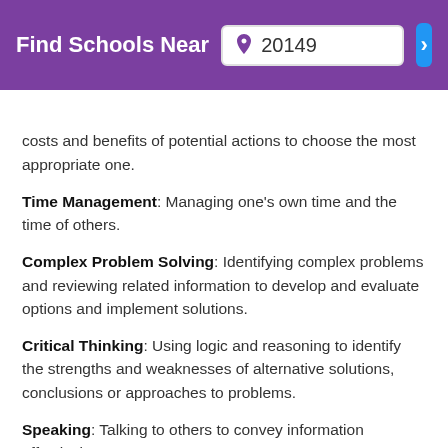Find Schools Near 20149
costs and benefits of potential actions to choose the most appropriate one.
Time Management: Managing one's own time and the time of others.
Complex Problem Solving: Identifying complex problems and reviewing related information to develop and evaluate options and implement solutions.
Critical Thinking: Using logic and reasoning to identify the strengths and weaknesses of alternative solutions, conclusions or approaches to problems.
Speaking: Talking to others to convey information effectively.
Monitoring: Monitoring/Assessing performance of yourself, other individuals, or organizations to make